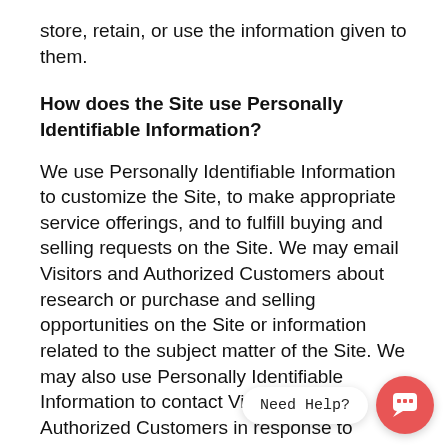store, retain, or use the information given to them.
How does the Site use Personally Identifiable Information?
We use Personally Identifiable Information to customize the Site, to make appropriate service offerings, and to fulfill buying and selling requests on the Site. We may email Visitors and Authorized Customers about research or purchase and selling opportunities on the Site or information related to the subject matter of the Site. We may also use Personally Identifiable Information to contact Visitors and Authorized Customers in response to specific inquiries, or to provide requested